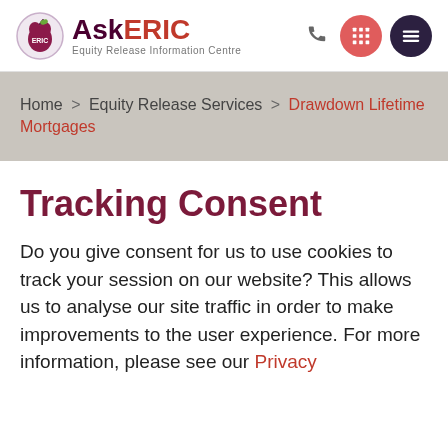[Figure (logo): AskERIC logo with apple icon and text 'Equity Release Information Centre']
Home > Equity Release Services > Drawdown Lifetime Mortgages
Tracking Consent
Do you give consent for us to use cookies to track your session on our website? This allows us to analyse our site traffic in order to make improvements to the user experience. For more information, please see our Privacy